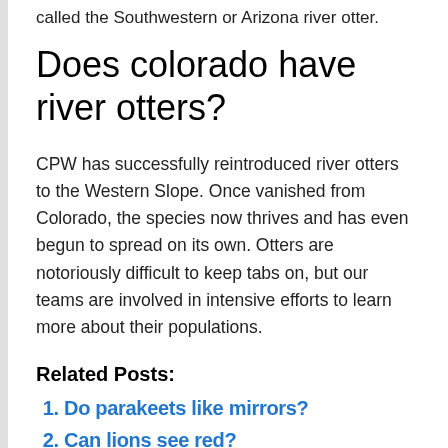called the Southwestern or Arizona river otter.
Does colorado have river otters?
CPW has successfully reintroduced river otters to the Western Slope. Once vanished from Colorado, the species now thrives and has even begun to spread on its own. Otters are notoriously difficult to keep tabs on, but our teams are involved in intensive efforts to learn more about their populations.
Related Posts:
Do parakeets like mirrors?
Can lions see red?
Can toads eat too much?